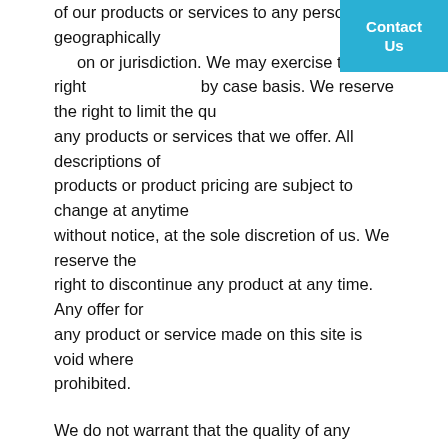of our products or services to any person, geographically on or jurisdiction. We may exercise this right by case basis. We reserve the right to limit the quantities of any products or services that we offer. All descriptions of products or product pricing are subject to change at anytime without notice, at the sole discretion of us. We reserve the right to discontinue any product at any time. Any offer for any product or service made on this site is void where prohibited.
We do not warrant that the quality of any products, services, information, or other material purchased or obtained by you will meet your expectations, or that any errors in the Service will be corrected.
SECTION 6 – ACCURACY OF BILLING AND ACCOUNT INFORMATION
We reserve the right to refuse any order you place with us. We may, in our sole discretion, limit or cancel quantities purchased per person, per household or per order. These
[Figure (other): Blue 'Contact Us' button in top right corner]